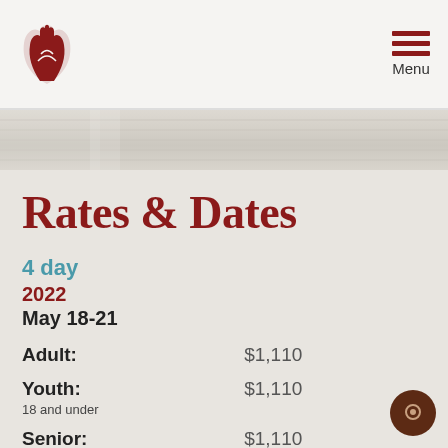Logo and Menu navigation header
Rates & Dates
4 day
2022
May 18-21
| Category | Price |
| --- | --- |
| Adult: | $1,110 |
| Youth:
18 and under | $1,110 |
| Senior: | $1,110 |